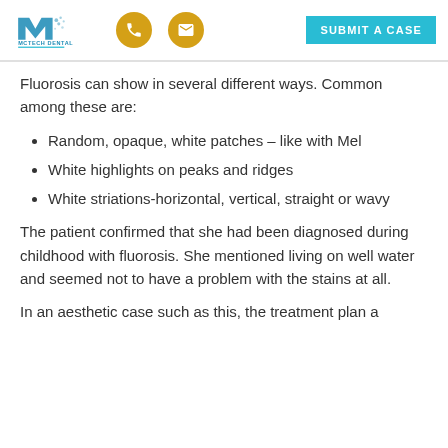[Figure (logo): McTech Dental logo with phone and email icons and a 'Submit a Case' button]
Fluorosis can show in several different ways. Common among these are:
Random, opaque, white patches – like with Mel
White highlights on peaks and ridges
White striations-horizontal, vertical, straight or wavy
The patient confirmed that she had been diagnosed during childhood with fluorosis. She mentioned living on well water and seemed not to have a problem with the stains at all.
In an aesthetic case such as this, the treatment plan a